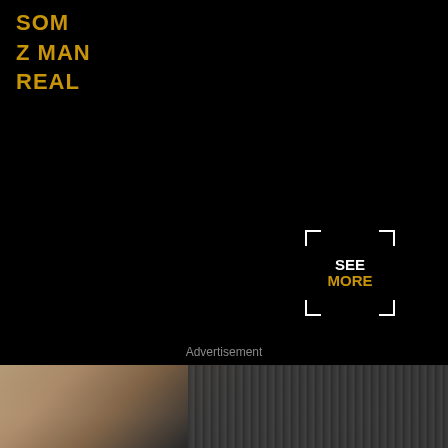SOM
Z MAN
REAL
[Figure (other): SEE MORE button overlay with white corner bracket design. 'SEE' in white bold text, 'MORE' in gold/yellow bold text, surrounded by white corner brackets forming a viewfinder-style frame.]
Advertisement
[Figure (photo): Photo of hands on a laptop keyboard, partially visible at the bottom of the page. The scene shows what appears to be a person's hands typing, with blurred background.]